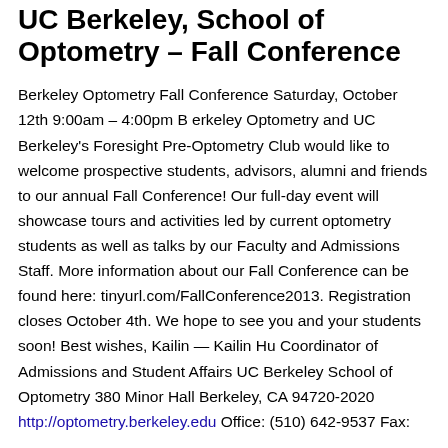UC Berkeley, School of Optometry – Fall Conference
Berkeley Optometry Fall Conference Saturday, October 12th 9:00am – 4:00pm B erkeley Optometry and UC Berkeley's Foresight Pre-Optometry Club would like to welcome prospective students, advisors, alumni and friends to our annual Fall Conference! Our full-day event will showcase tours and activities led by current optometry students as well as talks by our Faculty and Admissions Staff. More information about our Fall Conference can be found here: tinyurl.com/FallConference2013. Registration closes October 4th. We hope to see you and your students soon! Best wishes, Kailin — Kailin Hu Coordinator of Admissions and Student Affairs UC Berkeley School of Optometry 380 Minor Hall Berkeley, CA 94720-2020 http://optometry.berkeley.edu Office: (510) 642-9537 Fax: